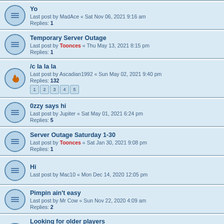Yo
Last post by MadAce « Sat Nov 06, 2021 9:16 am
Replies: 1
Temporary Server Outage
Last post by Toonces « Thu May 13, 2021 8:15 pm
Replies: 1
/c la la la
Last post by Ascadian1992 « Sun May 02, 2021 9:40 pm
Replies: 132
Pages: 1 2 3 4 5
0zzy says hi
Last post by Jupiter « Sat May 01, 2021 6:24 pm
Replies: 5
Server Outage Saturday 1-30
Last post by Toonces « Sat Jan 30, 2021 9:08 pm
Replies: 1
Hi
Last post by Mac10 « Mon Dec 14, 2020 12:05 pm
Pimpin ain't easy
Last post by Mr Cow « Sun Nov 22, 2020 4:09 am
Replies: 2
Looking for older players
Last post by Destino « Mon Oct 19, 2020 11:22 am
Replies: 69
Pages: 1 2 3
Unofficial SGE Discord
Last post by pudlez « Thu Jun 18, 2020 3:12 am
Replies: 3